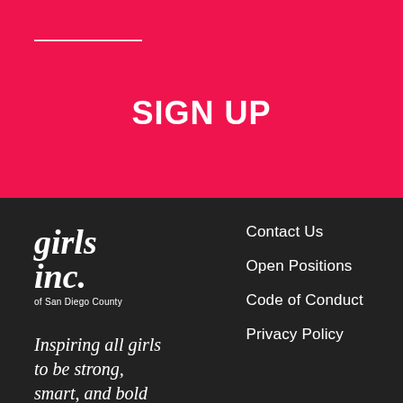SIGN UP
[Figure (logo): Girls Inc. of San Diego County logo — stylized italic serif text reading 'girls inc.' with 'of San Diego County' below]
Inspiring all girls to be strong, smart, and bold
Contact Us
Open Positions
Code of Conduct
Privacy Policy